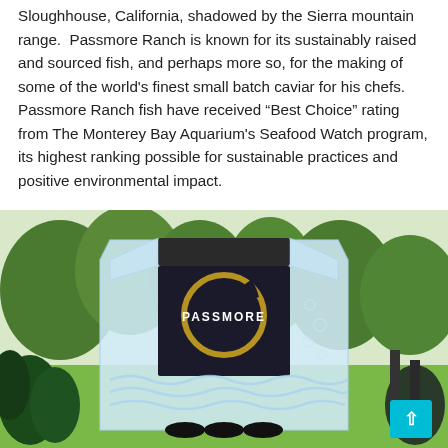Sloughhouse, California, shadowed by the Sierra mountain range.  Passmore Ranch is known for its sustainably raised and sourced fish, and perhaps more so, for the making of some of the world's finest small batch caviar for his chefs.  Passmore Ranch fish have received “Best Choice” rating from The Monterey Bay Aquarium's Seafood Watch program, its highest ranking possible for sustainable practices and positive environmental impact.
[Figure (photo): Photo of a clear ice sculpture shaped like a decorative block, featuring the Passmore Ranch logo — a gold circular brushstroke with the word PASSMORE on a dark background — displayed outdoors with green trees and plants in the background. A small cyan/teal scroll-to-top button is visible in the lower right corner.]